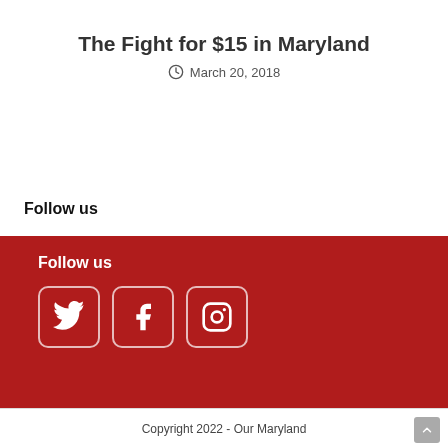The Fight for $15 in Maryland
March 20, 2018
Follow us
Follow us
[Figure (infographic): Three social media icons in rounded-rectangle white-bordered boxes on red background: Twitter bird, Facebook 'f', Instagram camera]
Copyright 2022 - Our Maryland